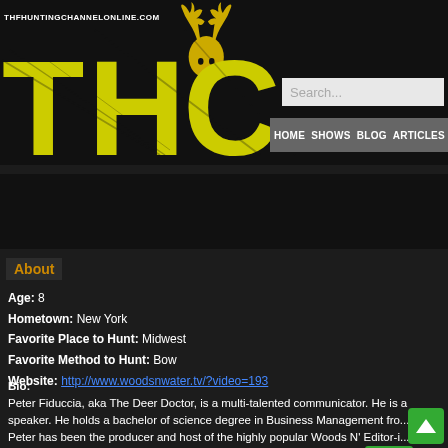[Figure (logo): THC - The Hunting Channel Online logo with yellow distressed THC letters and deer antler silhouette on black background]
THFHUNTINGCHANNELONLINE.COM | HOME  SHOWS  BLOG  ARTICLES  A
peter fiduccia
About
Age: 8
Hometown: New York
Favorite Place to Hunt: Midwest
Favorite Method to Hunt: Bow
Website: http://www.woodsnwater.tv/?video=193
Bio:
Peter Fiduccia, aka The Deer Doctor, is a multi-talented communicator. He is a speaker. He holds a bachelor of science degree in Business Management fro... Peter has been the producer and host of the highly popular Woods N' Editor-i... years Water Big Game Adventures TV Series for over 30 years. The pr... seen on The Hunt Channel, and YouTube. Peter's productions have ca...